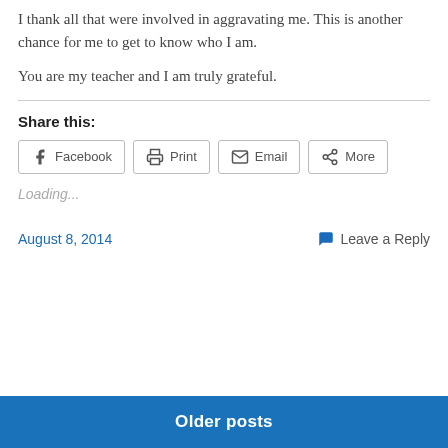I thank all that were involved in aggravating me. This is another chance for me to get to know who I am.

You are my teacher and I am truly grateful.
Share this:
Loading...
August 8, 2014     Leave a Reply
Older posts